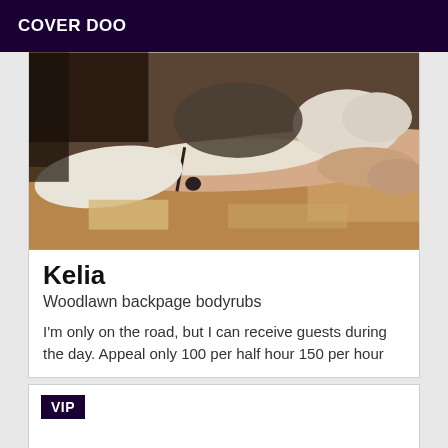COVER DOO
[Figure (photo): A person lying on what appears to a wooden surface, wearing light-colored clothing/lingerie, close-up photo]
Kelia
Woodlawn backpage bodyrubs
I'm only on the road, but I can receive guests during the day. Appeal only 100 per half hour 150 per hour
VIP